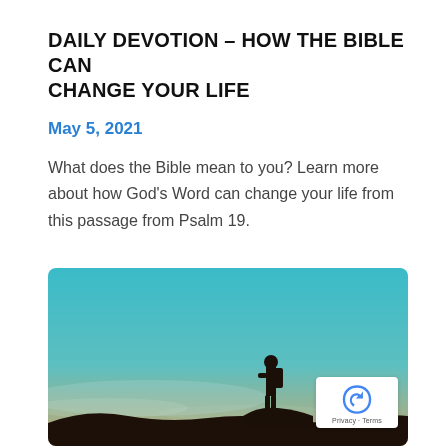DAILY DEVOTION – HOW THE BIBLE CAN CHANGE YOUR LIFE
May 5, 2021
What does the Bible mean to you? Learn more about how God's Word can change your life from this passage from Psalm 19.
[Figure (photo): Silhouette of a person with a backpack standing on rocky terrain against a blue-green gradient sky at dusk or dawn, looking into the distance.]